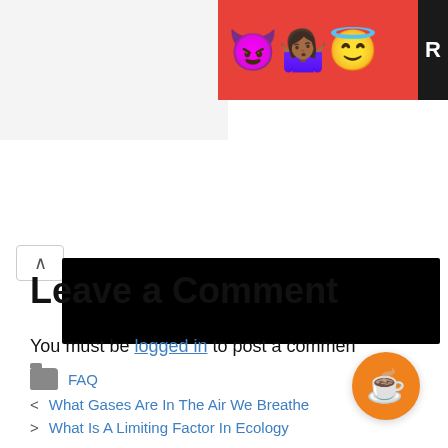[Figure (screenshot): Advertisement banner with emoji characters (devil, woman shrugging, angel face) on red background with partial black 'R' letter on right edge]
[Figure (screenshot): Black redacted/censored bar over website navigation content, with scroll-up arrow button on the left]
FAQ
< What Gases Are In The Air We Breathe
> What Is A Limiting Factor In Ecology
Leave a Comment
You must be logged in to post a comment.
[Figure (illustration): Orange circular button with coffee cup icon]